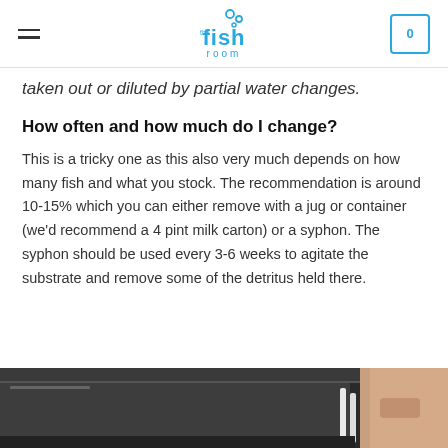the fish room
taken out or diluted by partial water changes.
How often and how much do I change?
This is a tricky one as this also very much depends on how many fish and what you stock. The recommendation is around 10-15% which you can either remove with a jug or container (we'd recommend a 4 pint milk carton) or a syphon. The syphon should be used every 3-6 weeks to agitate the substrate and remove some of the detritus held there.
[Figure (photo): Photo of a fish tank or aquarium equipment being maintained, partial view showing dark equipment and a hand]